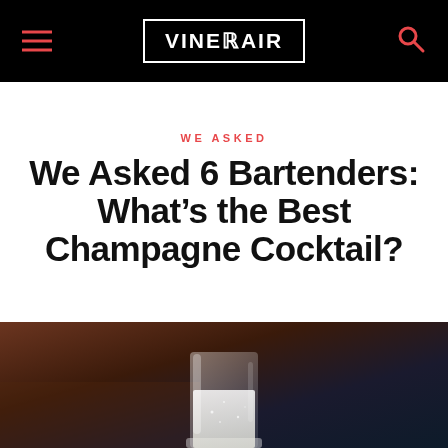VINEPAIR
WE ASKED
We Asked 6 Bartenders: What's the Best Champagne Cocktail?
[Figure (photo): Dark background photo showing a glass of champagne cocktail on a wooden surface with dark moody lighting]